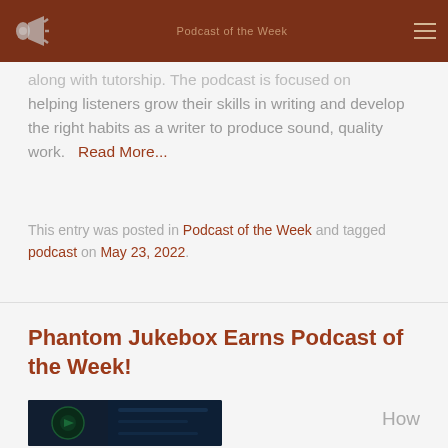along with tutorship. The podcast is focused on helping listeners grow their skills in writing and develop the right habits as a writer to produce sound, quality work. Read More...
This entry was posted in Podcast of the Week and tagged podcast on May 23, 2022.
Phantom Jukebox Earns Podcast of the Week!
[Figure (photo): Thumbnail image for Phantom Jukebox article, dark background]
How